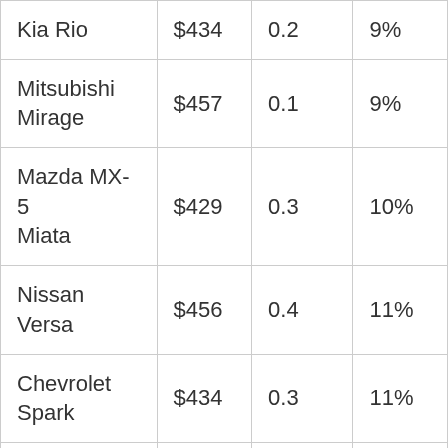| Kia Rio | $434 | 0.2 | 9% |
| Mitsubishi Mirage | $457 | 0.1 | 9% |
| Mazda MX-5 Miata | $429 | 0.3 | 10% |
| Nissan Versa | $456 | 0.4 | 11% |
| Chevrolet Spark | $434 | 0.3 | 11% |
| Chevrolet Sonic | $536 | 0.4 | 11% |
| Chevrolet | $616 | 0.2 | 11% |